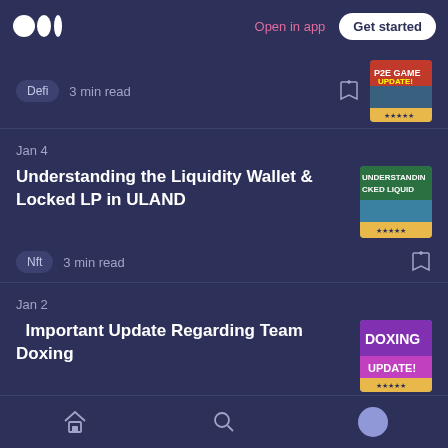Medium app header — Open in app | Get started
Defi  3 min read
Jan 4
Understanding the Liquidity Wallet & Locked LP in ULAND
Nft  3 min read
Jan 2
Important Update Regarding Team Doxing
Home | Search | Profile